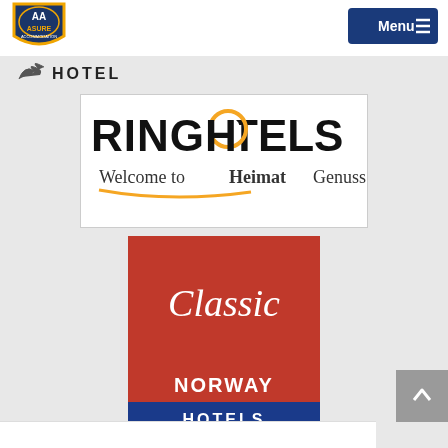[Figure (logo): ASURE Accommodation logo - shield shaped badge with gold and dark blue colors, white AA symbol in center]
[Figure (logo): Menu button - dark blue rectangle with 'Menu' text and hamburger icon]
[Figure (logo): Partial hotel logo - dark bird/wing mark with 'HOTEL' text in capital letters, partially cropped at top]
[Figure (logo): Ringhotels logo - black text 'RINGHOTELS' with orange ring forming the O, tagline 'Welcome to HeimatGenuss' with orange underline, on white background]
[Figure (logo): Classic Norway Hotels logo - red square top half with white script 'Classic' text, red band with white 'NORWAY HOTELS' text, blue band at bottom with white 'HOTELS' text]